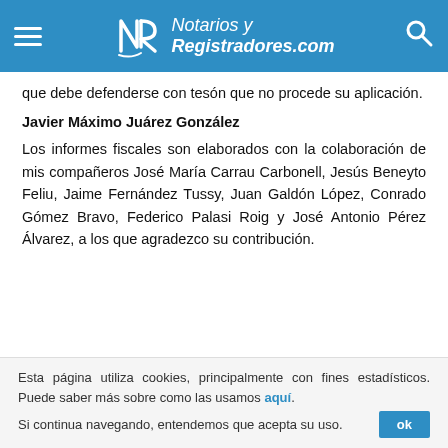Notarios y Registradores.com
que debe defenderse con tesón que no procede su aplicación.
Javier Máximo Juárez González
Los informes fiscales son elaborados con la colaboración de mis compañeros José María Carrau Carbonell, Jesús Beneyto Feliu, Jaime Fernández Tussy, Juan Galdón López, Conrado Gómez Bravo, Federico Palasi Roig y José Antonio Pérez Álvarez, a los que agradezco su contribución.
Esta página utiliza cookies, principalmente con fines estadísticos. Puede saber más sobre como las usamos aquí. Si continua navegando, entendemos que acepta su uso.